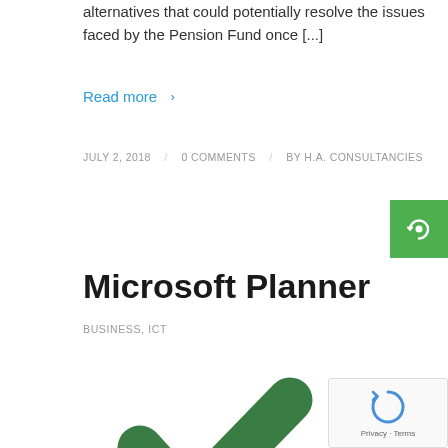alternatives that could potentially resolve the issues faced by the Pension Fund once [...]
Read more >
JULY 2, 2018 / 0 COMMENTS / BY H.A. CONSULTANCIES
Microsoft Planner
BUSINESS, ICT
[Figure (illustration): Microsoft Planner logo illustration showing a green checkmark above three green circles on a white background]
[Figure (other): reCAPTCHA widget showing a refresh icon with Privacy and Terms text]